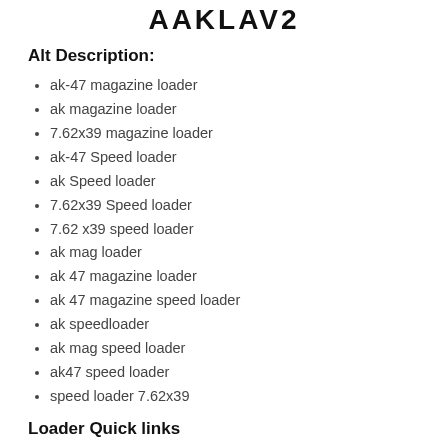AAKLAV2
Alt Description:
ak-47 magazine loader
ak magazine loader
7.62x39 magazine loader
ak-47 Speed loader
ak Speed loader
7.62x39 Speed loader
7.62 x39 speed loader
ak mag loader
ak 47 magazine loader
ak 47 magazine speed loader
ak speedloader
ak mag speed loader
ak47 speed loader
speed loader 7.62x39
Loader Quick links
speed loader 5.56